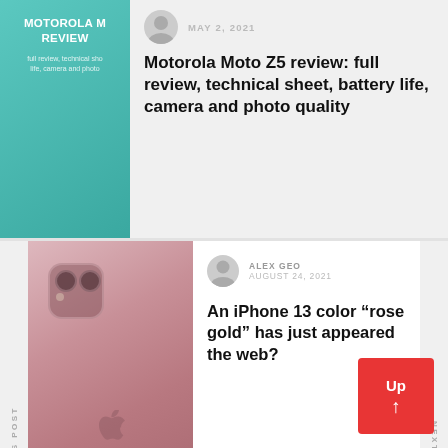[Figure (screenshot): Thumbnail for Motorola Moto Z5 review article with teal/green background and white text]
MAY 2, 2021
Motorola Moto Z5 review: full review, technical sheet, battery life, camera and photo quality
[Figure (photo): Photo of an iPhone 13 in rose gold color showing camera and Apple logo]
ALEX GEO
AUGUST 24, 2021
An iPhone 13 color “rose gold” has just appeared the web?
PREVIOUS POST
NEXT POST